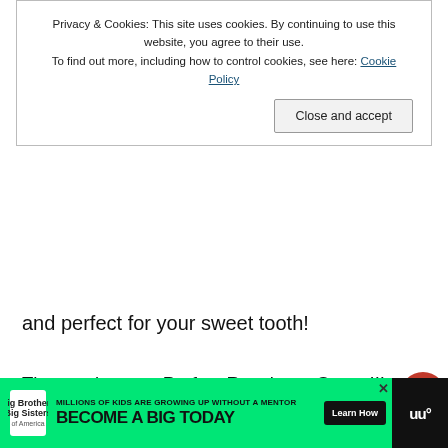Privacy & Cookies: This site uses cookies. By continuing to use this website, you agree to their use.
To find out more, including how to control cookies, see here: Cookie Policy
Close and accept
and perfect for your sweet tooth!
The result was a Perfect Raspberry Sauce!!! Serve it as a topping for an ice cream sundae (plain vanilla ice cream with this sauce is perfection), banana splits cheesecake topping, a topping for a brownie sund a mix in for a fruit dip or yogurt, or served waffles! It's so delicious you may find you it with a spoon!
[Figure (other): Big Brothers Big Sisters ad banner: MILLIONS OF KIDS ARE GROWING UP WITHOUT A MENTOR. BECOME A BIG TODAY. Learn How.]